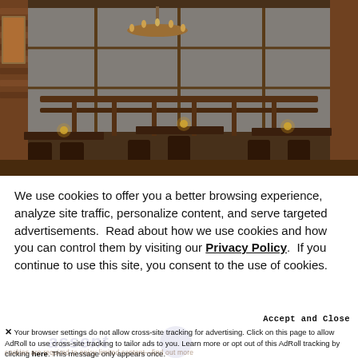[Figure (photo): Interior of a rustic restaurant with wooden furniture, dark chairs, candles on tables, large industrial windows, hanging chandelier, and brick walls.]
We use cookies to offer you a better browsing experience, analyze site traffic, personalize content, and serve targeted advertisements.  Read about how we use cookies and how you can control them by visiting our Privacy Policy.  If you continue to use this site, you consent to the use of cookies.
Accept and Close
✕ Your browser settings do not allow cross-site tracking for advertising. Click on this page to allow AdRoll to use cross-site tracking to tailor ads to you. Learn more or opt out of this AdRoll tracking by clicking here. This message only appears once.